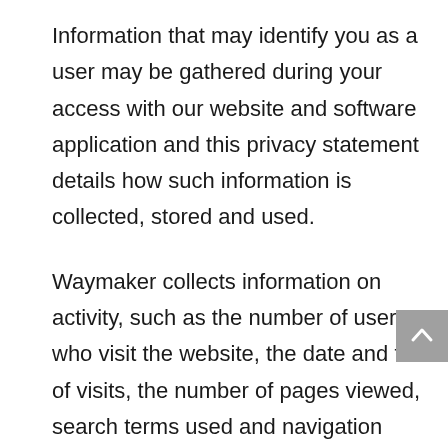Information that may identify you as a user may be gathered during your access with our website and software application and this privacy statement details how such information is collected, stored and used.
Waymaker collects information on activity, such as the number of users who visit the website, the date and time of visits, the number of pages viewed, search terms used and navigation patterns.
This information does not identify the individual until the user opts in to Waymaker communications and it does provide us with detail we can use to improve our website and